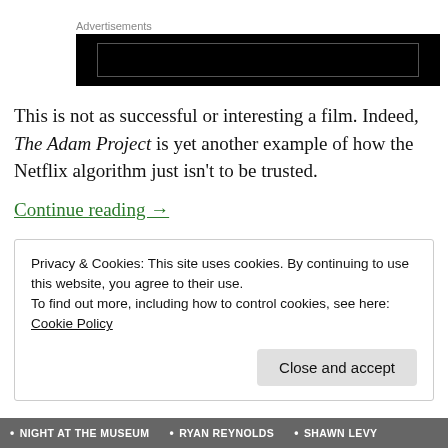[Figure (other): Advertisement banner block — black rectangle with inner grey border rectangle]
This is not as successful or interesting a film. Indeed, The Adam Project is yet another example of how the Netflix algorithm just isn't to be trusted.
Continue reading →
Privacy & Cookies: This site uses cookies. By continuing to use this website, you agree to their use.
To find out more, including how to control cookies, see here: Cookie Policy
Close and accept
• NIGHT AT THE MUSEUM • RYAN REYNOLDS • SHAWN LEVY